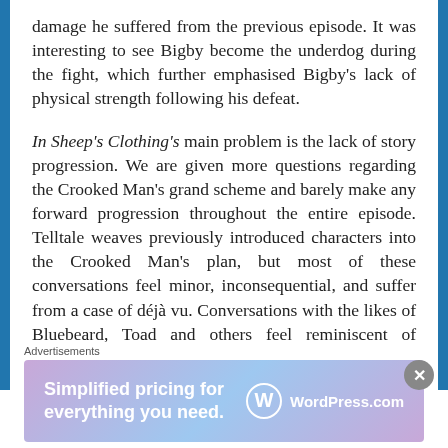damage he suffered from the previous episode. It was interesting to see Bigby become the underdog during the fight, which further emphasised Bigby's lack of physical strength following his defeat.
In Sheep's Clothing's main problem is the lack of story progression. We are given more questions regarding the Crooked Man's grand scheme and barely make any forward progression throughout the entire episode. Telltale weaves previously introduced characters into the Crooked Man's plan, but most of these conversations feel minor, inconsequential, and suffer from a case of déjà vu. Conversations with the likes of Bluebeard, Toad and others feel reminiscent of previous conversations throughout the series
Advertisements
[Figure (other): WordPress.com advertisement banner: 'Simplified pricing for everything you need.' with WordPress.com logo on a purple-blue gradient background.]